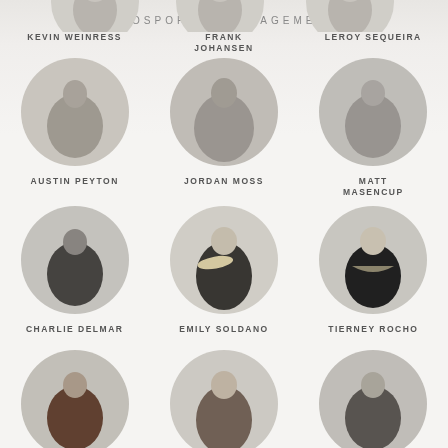[Figure (logo): PROSPORT | MANAGEMENT logo text]
KEVIN WEINRESS
FRANK JOHANSEN
LEROY SEQUEIRA
[Figure (photo): Circular portrait photo of Austin Peyton]
AUSTIN PEYTON
[Figure (photo): Circular portrait photo of Jordan Moss]
JORDAN MOSS
[Figure (photo): Circular portrait photo of Matt Masencup]
MATT MASENCUP
[Figure (photo): Circular portrait photo of Charlie Delmar]
CHARLIE DELMAR
[Figure (photo): Circular portrait photo of Emily Soldano]
EMILY SOLDANO
[Figure (photo): Circular portrait photo of Tierney Rocho]
TIERNEY ROCHO
[Figure (photo): Partial circular portrait photos of three more people at bottom]